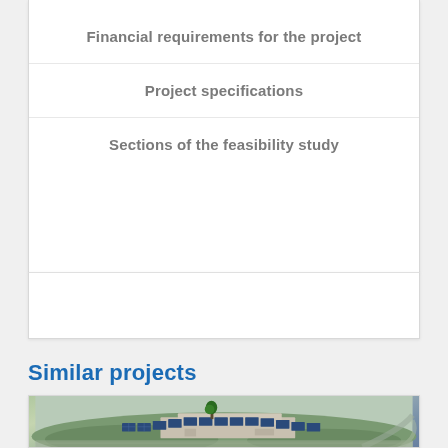Financial requirements for the project
Project specifications
Sections of the feasibility study
Similar projects
[Figure (photo): Aerial view of a solar panel installation on a building rooftop surrounded by green vegetation and roads]